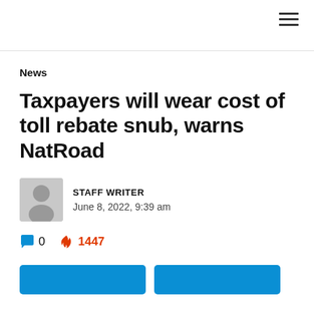≡ (hamburger menu icon)
News
Taxpayers will wear cost of toll rebate snub, warns NatRoad
STAFF WRITER
June 8, 2022, 9:39 am
💬 0  🔥 1447